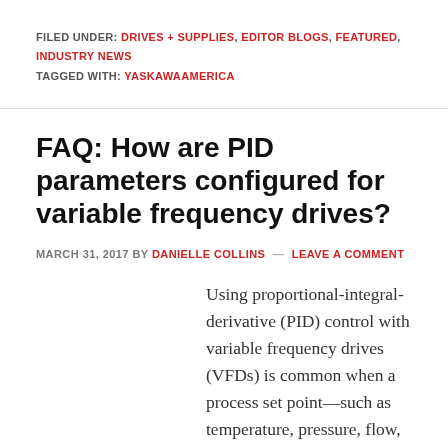FILED UNDER: DRIVES + SUPPLIES, EDITOR BLOGS, FEATURED, INDUSTRY NEWS
TAGGED WITH: YASKAWAAMERICA
FAQ: How are PID parameters configured for variable frequency drives?
MARCH 31, 2017 BY DANIELLE COLLINS — LEAVE A COMMENT
Using proportional-integral-derivative (PID) control with variable frequency drives (VFDs) is common when a process set point—such as temperature, pressure, flow, or speed—needs to be